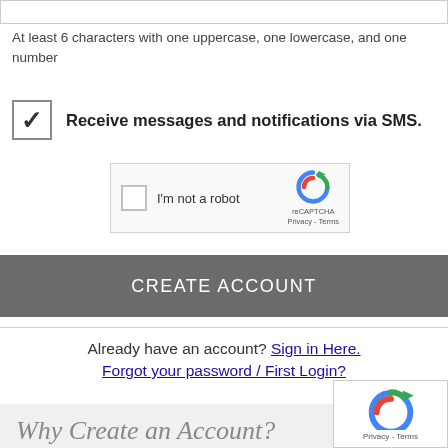At least 6 characters with one uppercase, one lowercase, and one number
Receive messages and notifications via SMS.
[Figure (screenshot): reCAPTCHA widget with checkbox and 'I'm not a robot' label, Privacy and Terms links]
CREATE ACCOUNT
Already have an account? Sign in Here.
Forgot your password / First Login?
Why Create an Account?
[Figure (screenshot): reCAPTCHA logo corner overlay with Privacy - Terms text]